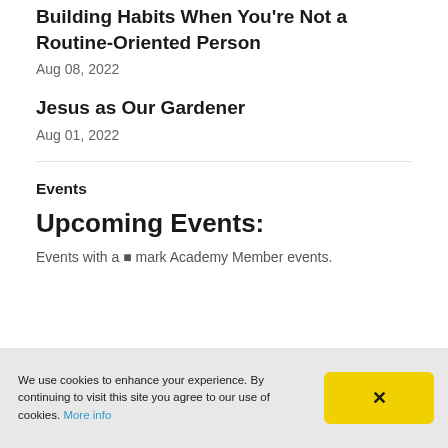Building Habits When You're Not a Routine-Oriented Person
Aug 08, 2022
Jesus as Our Gardener
Aug 01, 2022
Events
Upcoming Events:
Events with a ★ mark Academy Member events.
We use cookies to enhance your experience. By continuing to visit this site you agree to our use of cookies. More info